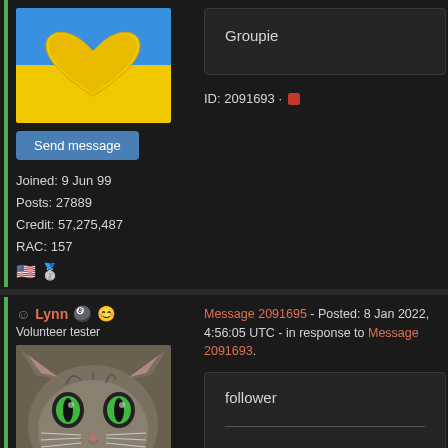[Figure (illustration): Ukraine flag heart avatar image (blue top, yellow bottom heart shape)]
Groupie
ID: 2091693 · [red square icon]
Send message
Joined: 9 Jun 99
Posts: 27889
Credit: 57,275,487
RAC: 157
🇺🇸 🥈
Lynn [emoji icons] Volunteer tester
[Figure (photo): Close-up photo of a cat with green eyes]
Message 2091695 - Posted: 8 Jan 2022, 4:56:05 UTC - in response to Message 2091693.
follower
Send message
Joined: 20 Nov 00
ID: 2091695 · [red square icon]